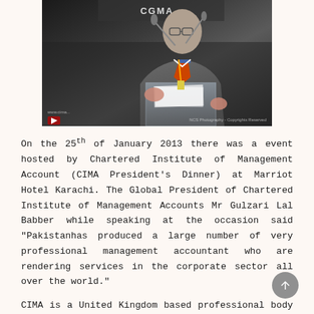[Figure (photo): A man in a suit and tie speaking at a podium with a microphone. There is a CGMA banner/sign visible in the background. The podium appears to be glass/acrylic. A watermark reads 'NCS Photography - Copyrights Reserved'.]
On the 25th of January 2013 there was a event hosted by Chartered Institute of Management Account (CIMA President's Dinner) at Marriot Hotel Karachi. The Global President of Chartered Institute of Management Accounts Mr Gulzari Lal Babber while speaking at the occasion said "Pakistanhas produced a large number of very professional management accountant who are rendering services in the corporate sector all over the world."
CIMA is a United Kingdom based professional body it is the world's largest and leading body of management